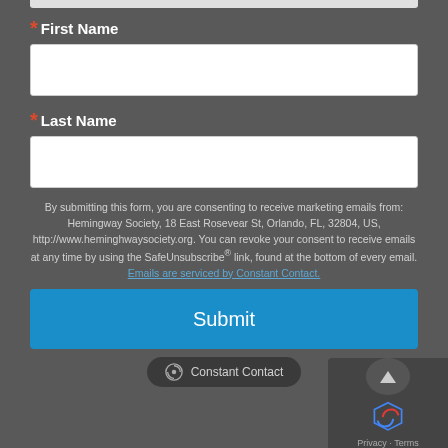* First Name
[Figure (screenshot): Empty text input field for First Name]
* Last Name
[Figure (screenshot): Empty text input field for Last Name]
By submitting this form, you are consenting to receive marketing emails from: Hemingway Society, 18 East Rosevear St, Orlando, FL, 32804, US, http://www.heminghwaysociety.org. You can revoke your consent to receive emails at any time by using the SafeUnsubscribe® link, found at the bottom of every email. Emails are serviced by Constant Contact.
[Figure (screenshot): Blue Submit button]
[Figure (logo): Constant Contact badge/logo at bottom center]
[Figure (screenshot): Scroll-to-top button and reCAPTCHA logo in bottom right corner with Privacy - Terms text]